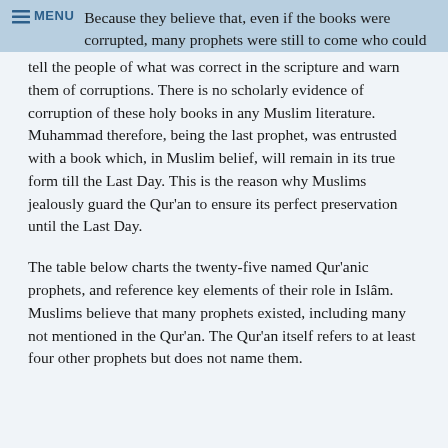MENU
Because they believe that, even if the books were corrupted, many prophets were still to come who could tell the people of what was correct in the scripture and warn them of corruptions. There is no scholarly evidence of corruption of these holy books in any Muslim literature. Muhammad therefore, being the last prophet, was entrusted with a book which, in Muslim belief, will remain in its true form till the Last Day. This is the reason why Muslims jealously guard the Qur'an to ensure its perfect preservation until the Last Day.
The table below charts the twenty-five named Qur'anic prophets, and reference key elements of their role in Islâm. Muslims believe that many prophets existed, including many not mentioned in the Qur'an. The Qur'an itself refers to at least four other prophets but does not name them.